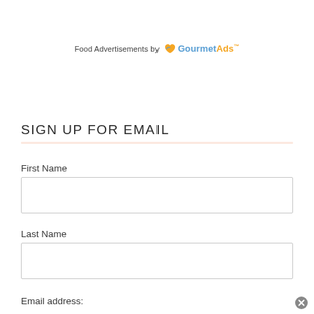Food Advertisements by GourmetAds™
SIGN UP FOR EMAIL
First Name
Last Name
Email address: